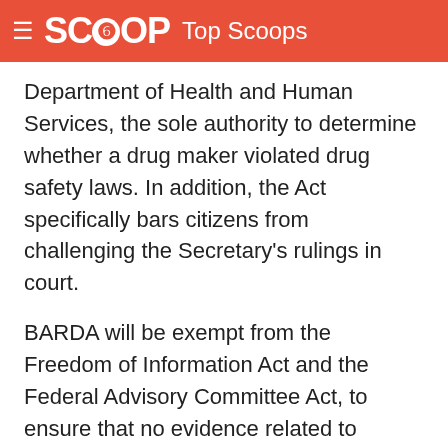SCOOP Top Scoops
Department of Health and Human Services, the sole authority to determine whether a drug maker violated drug safety laws. In addition, the Act specifically bars citizens from challenging the Secretary's rulings in court.
BARDA will be exempt from the Freedom of Information Act and the Federal Advisory Committee Act, to ensure that no evidence related to injuries caused by vaccines classified as "countermeasures" will become public.
"It means that, if an American is injured by an